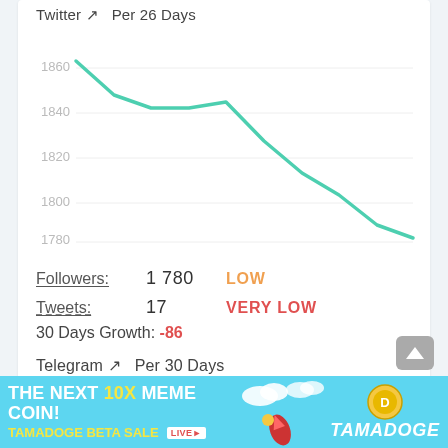Twitter ↗ Per 26 Days
[Figure (line-chart): Twitter Followers Per 26 Days]
Followers: 1 780 LOW
Tweets: 17 VERY LOW
30 Days Growth: -86
Telegram ↗ Per 30 Days
[Figure (line-chart): Telegram Per 30 Days]
[Figure (infographic): Tamadoge ad banner: THE NEXT 10X MEME COIN! TAMADOGE BETA SALE LIVE]